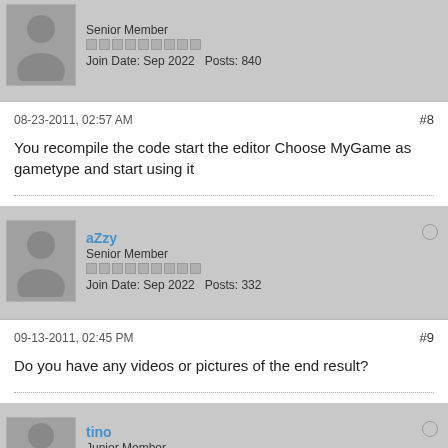Senior Member
Join Date: Sep 2022   Posts: 840
08-23-2011, 02:57 AM
#8
You recompile the code start the editor Choose MyGame as gametype and start using it
aZzy
Senior Member
Join Date: Sep 2022   Posts: 332
09-13-2011, 02:45 PM
#9
Do you have any videos or pictures of the end result?
tino
Junior Member